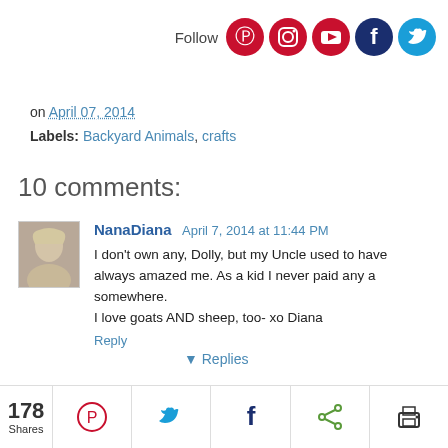Follow [Pinterest] [Instagram] [YouTube] [Facebook] [Twitter]
on April 07, 2014
Labels: Backyard Animals, crafts
10 comments:
NanaDiana April 7, 2014 at 11:44 PM
I don't own any, Dolly, but my Uncle used to have always amazed me. As a kid I never paid any a somewhere.
I love goats AND sheep, too- xo Diana
Reply
178 Shares